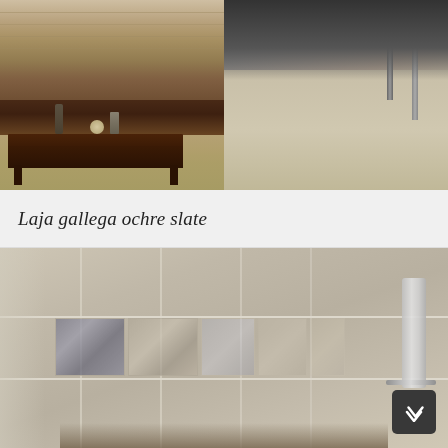[Figure (photo): Two-panel interior photo: left panel shows a living room with dark wood console table, decorative items, and stone/brick wall background; right panel shows a marble or stone floor with dark furniture legs visible and dim ambient lighting.]
Laja gallega ochre slate
[Figure (photo): Close-up photo of a tiled wall (beige/cream stone tiles) with a horizontal decorative border strip featuring ornamental tile inserts. A metallic shower accessory is visible on the right side. A dark back-to-top navigation button is in the bottom-right corner.]